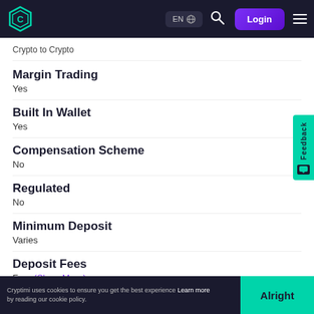EN | Login
Crypto to Crypto
Margin Trading
Yes
Built In Wallet
Yes
Compensation Scheme
No
Regulated
No
Minimum Deposit
Varies
Deposit Fees
Free (Show More)
Cryptimi uses cookies to ensure you get the best experience Learn more by reading our cookie policy. Alright